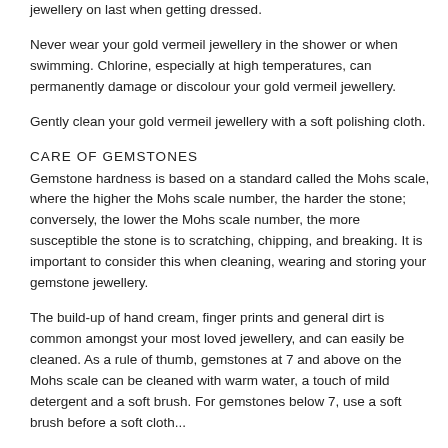jewellery on last when getting dressed.
Never wear your gold vermeil jewellery in the shower or when swimming. Chlorine, especially at high temperatures, can permanently damage or discolour your gold vermeil jewellery.
Gently clean your gold vermeil jewellery with a soft polishing cloth.
CARE OF GEMSTONES
Gemstone hardness is based on a standard called the Mohs scale, where the higher the Mohs scale number, the harder the stone; conversely, the lower the Mohs scale number, the more susceptible the stone is to scratching, chipping, and breaking. It is important to consider this when cleaning, wearing and storing your gemstone jewellery.
The build-up of hand cream, finger prints and general dirt is common amongst your most loved jewellery, and can easily be cleaned. As a rule of thumb, gemstones at 7 and above on the Mohs scale can be cleaned with warm water, a touch of mild detergent and a soft brush. For gemstones below 7, use a soft brush before a soft cloth...